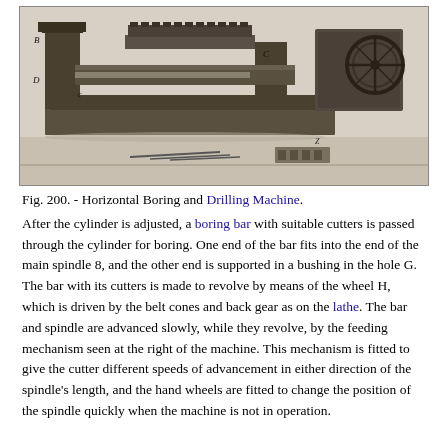[Figure (photo): Black and white photograph of a Horizontal Boring and Drilling Machine. The machine is a large industrial lathe-type device with labeled parts including B, D, c, C, and other components. It sits on a base with various mechanical components visible including a wheel mechanism on the right side.]
Fig. 200. - Horizontal Boring and Drilling Machine.
After the cylinder is adjusted, a boring bar with suitable cutters is passed through the cylinder for boring. One end of the bar fits into the end of the main spindle 8, and the other end is supported in a bushing in the hole G. The bar with its cutters is made to revolve by means of the wheel H, which is driven by the belt cones and back gear as on the lathe. The bar and spindle are advanced slowly, while they revolve, by the feeding mechanism seen at the right of the machine. This mechanism is fitted to give the cutter different speeds of advancement in either direction of the spindle's length, and the hand wheels are fitted to change the position of the spindle quickly when the machine is not in operation.